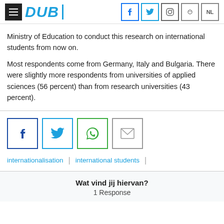DUB
Ministry of Education to conduct this research on international students from now on.
Most respondents come from Germany, Italy and Bulgaria. There were slightly more respondents from universities of applied sciences (56 percent) than from research universities (43 percent).
[Figure (infographic): Social share buttons: Facebook, Twitter, WhatsApp, Email]
internationalisation | international students
Wat vind jij hiervan?
1 Response